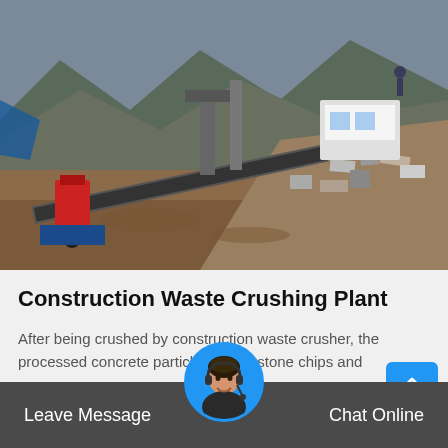[Figure (photo): Aerial view of a construction waste crushing plant with heavy machinery, conveyor belts, red/blue equipment, and piles of rubble and construction debris in a mountainous area.]
Construction Waste Crushing Plant
After being crushed by construction waste crusher, the processed concrete particles, brick, stone chips and
Read More
Leave Message
Chat Online